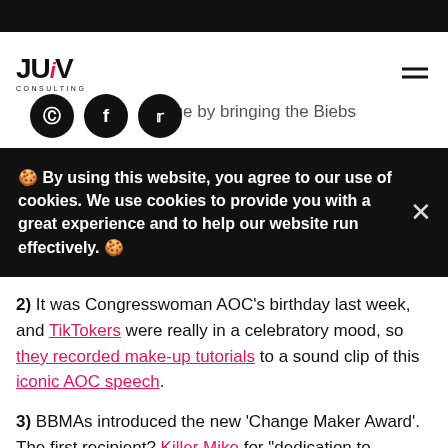JUiV CONSULTING
mu... age by bringing the Biebs
🍪 By using this website, you agree to our use of cookies. We use cookies to provide you with a great experience and to help our website run effectively. 🍪
2) It was Congresswoman AOC's birthday last week, and TikTokers were really in a celebratory mood, so they recorded make-up tutorials to a sound clip of this iconic AOC speech.
3) BBMAs introduced the new 'Change Maker Award'. The first recipient? Killer Mike for "dedication to equality, social justice and financial literacy in the Black community."
4) Amy Coney Barrett could not apply the law